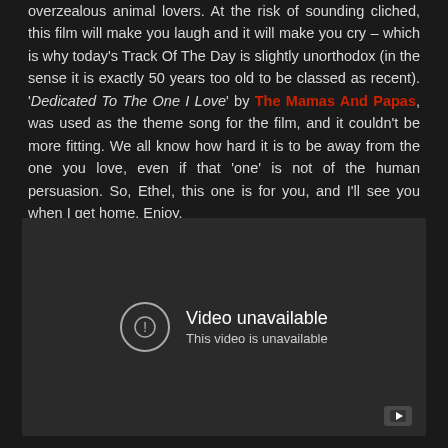overzealous animal lovers. At the risk of sounding cliched, this film will make you laugh and it will make you cry – which is why today's Track Of The Day is slightly unorthodox (in the sense it is exactly 50 years too old to be classed as recent). 'Dedicated To The One I Love' by The Mamas And Papas, was used as the theme song for the film, and it couldn't be more fitting. We all know how hard it is to be away from the one you love, even if that 'one' is not of the human persuasion. So, Ethel, this one is for you, and I'll see you when I get home. Enjoy.
[Figure (screenshot): Embedded video player showing 'Video unavailable - This video is unavailable' message with a YouTube icon in the bottom right corner. Dark grey background.]